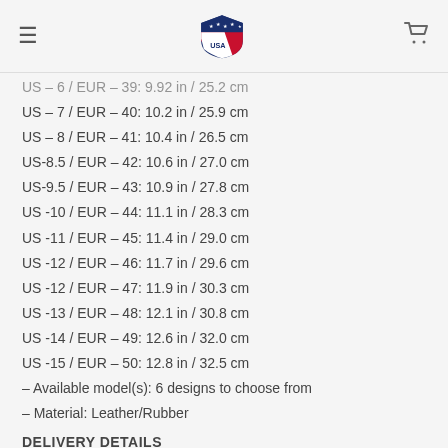Navigation header with logo and cart
US – 6 / EUR – 39: 9.92 in / 25.2 cm
US – 7 / EUR – 40: 10.2 in / 25.9 cm
US – 8 / EUR – 41: 10.4 in / 26.5 cm
US-8.5 / EUR – 42: 10.6 in / 27.0 cm
US-9.5 / EUR – 43: 10.9 in / 27.8 cm
US -10 / EUR – 44: 11.1 in / 28.3 cm
US -11 / EUR – 45: 11.4 in / 29.0 cm
US -12 / EUR – 46: 11.7 in / 29.6 cm
US -12 / EUR – 47: 11.9 in / 30.3 cm
US -13 / EUR – 48: 12.1 in / 30.8 cm
US -14 / EUR – 49: 12.6 in / 32.0 cm
US -15 / EUR – 50: 12.8 in / 32.5 cm
– Available model(s): 6 designs to choose from
– Material: Leather/Rubber
DELIVERY DETAILS